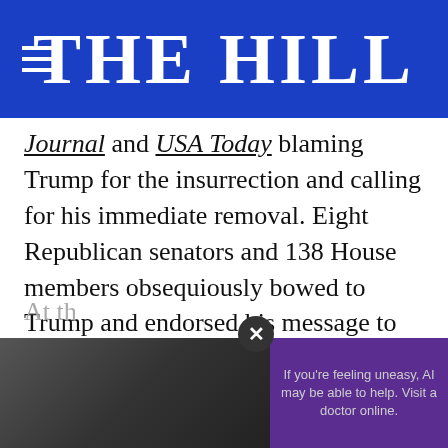THE HILL
Journal and USA Today blaming Trump for the insurrection and calling for his immediate removal. Eight Republican senators and 138 House members obsequiously bowed to Trump and endorsed his message to “stop the steal,” voting to invalidate the certified results from either Arizona or Pennsylvania. Two Cabinet members and several White House staffers have since resigned, with more considering the same. The stain left on the Trump presidency is akin to Lady Macbeth’s blood spot, one that will never wash away.
At th…